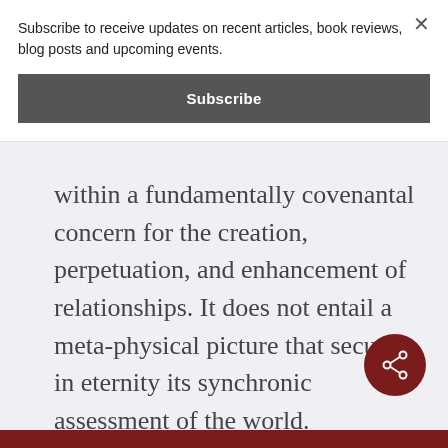Subscribe to receive updates on recent articles, book reviews, blog posts and upcoming events.
Subscribe
within a fundamentally covenantal concern for the creation, perpetuation, and enhancement of relationships. It does not entail a meta-physical picture that secures in eternity its synchronic assessment of the world. Abandoning such a picture would pose no harm to the conception of faith as a covenant; furthermore, I am